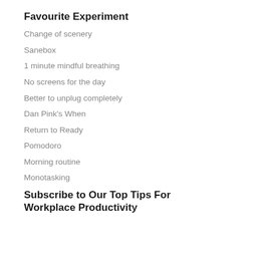Favourite Experiment
Change of scenery
Sanebox
1 minute mindful breathing
No screens for the day
Better to unplug completely
Dan Pink's When
Return to Ready
Pomodoro
Morning routine
Monotasking
Subscribe to Our Top Tips For Workplace Productivity